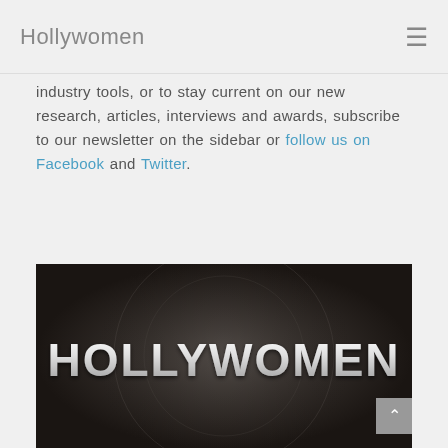Hollywomen
industry tools, or to stay current on our new research, articles, interviews and awards, subscribe to our newsletter on the sidebar or follow us on Facebook and Twitter.
[Figure (photo): Dark background with large silver/white embossed text reading HOLLYWOMEN, with a circular faded graphic behind the text]